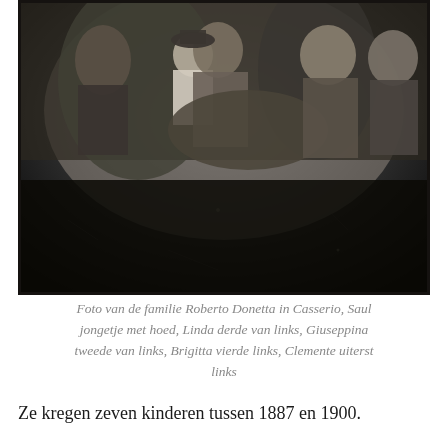[Figure (photo): Black and white historical photograph of the Roberto Donetta family in Casserio. Several people are visible including women and a baby/young child. The image is dark with aged photographic quality.]
Foto van de familie Roberto Donetta in Casserio, Saul jongetje met hoed, Linda derde van links, Giuseppina tweede van links, Brigitta vierde links, Clemente uiterst links
Ze kregen zeven kinderen tussen 1887 en 1900.